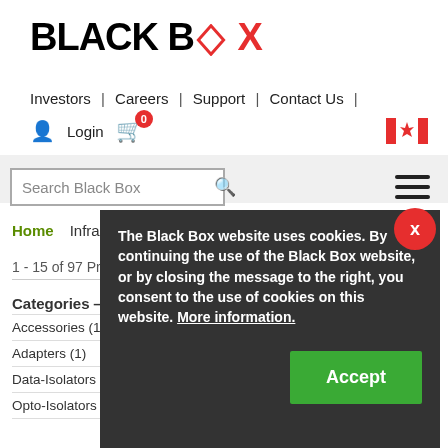[Figure (logo): Black Box company logo with red diamond in BOX text]
Investors | Careers | Support | Contact Us |
Login  0 (cart)
Search Black Box
Home   Infrastructure   Power
1 - 15 of 97 Product Results   Filters —
Categories —
Accessories (1)
Adapters (1)
Data-Isolators (3)
Opto-Isolators (3)
The Black Box website uses cookies. By continuing the use of the Black Box website, or by closing the message to the right, you consent to the use of cookies on this website. More information.
Accept